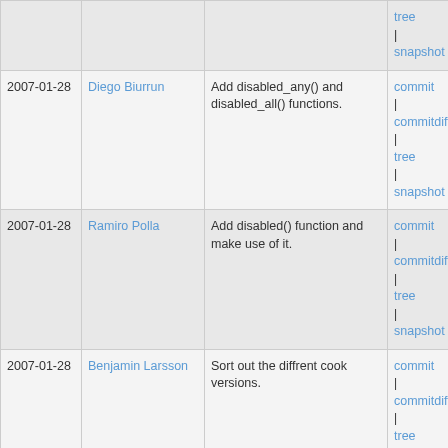| Date | Author | Message | Links |
| --- | --- | --- | --- |
|  |  |  | tree | snapshot |
| 2007-01-28 | Diego Biurrun | Add disabled_any() and disabled_all() functions. | commit | commitdiff | tree | snapshot |
| 2007-01-28 | Ramiro Polla | Add disabled() function and make use of it. | commit | commitdiff | tree | snapshot |
| 2007-01-28 | Benjamin Larsson | Sort out the diffrent cook versions. | commit | commitdiff | tree | snapshot |
| 2007-01-28 | Benjamin Larsson | Cook stereo (MONO_COOK2) bugfix, by Ian Braithwaite. | commit | commitdiff | tree | snapshot |
| 2007-01-28 | François Revol | an alloc func failing should give ENOMEM anyway. | commit | commitdiff | tree | snapshot |